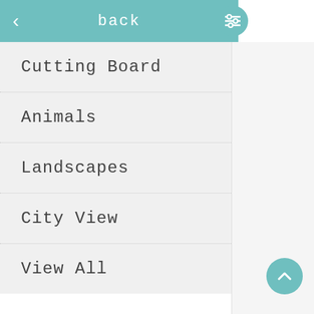back
Cutting Board
Animals
Landscapes
City View
View All
107